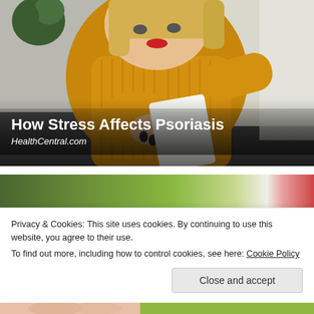[Figure (photo): A young blonde woman in a yellow knit sweater sitting on a couch, looking at her elbow/arm, appearing concerned. A plant is visible in the background.]
How Stress Affects Psoriasis
HealthCentral.com
[Figure (photo): Partial view of a green and red blurred background image, top portion of a second article card.]
Privacy & Cookies: This site uses cookies. By continuing to use this website, you agree to their use.
To find out more, including how to control cookies, see here: Cookie Policy
[Figure (photo): Bottom strip showing a close-up of a hand on a green background, partially visible.]